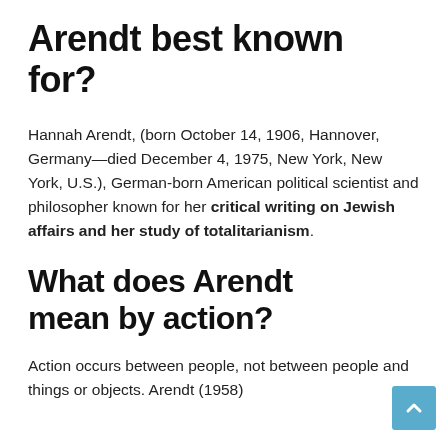Arendt best known for?
Hannah Arendt, (born October 14, 1906, Hannover, Germany—died December 4, 1975, New York, New York, U.S.), German-born American political scientist and philosopher known for her critical writing on Jewish affairs and her study of totalitarianism.
What does Arendt mean by action?
Action occurs between people, not between people and things or objects. Arendt (1958)